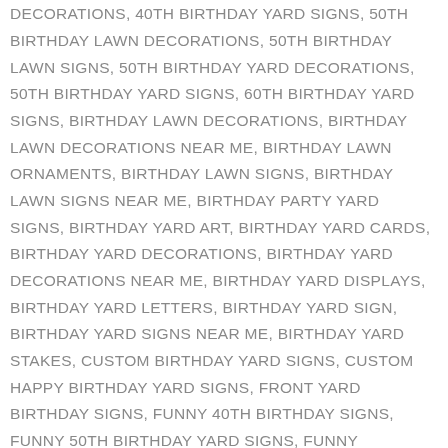YARD SIGNS, 40TH BIRTHDAY LAWN DECORATIONS, 40TH BIRTHDAY LAWN SIGNS, 40TH BIRTHDAY YARD DECORATIONS, 40TH BIRTHDAY YARD SIGNS, 50TH BIRTHDAY LAWN DECORATIONS, 50TH BIRTHDAY LAWN SIGNS, 50TH BIRTHDAY YARD DECORATIONS, 50TH BIRTHDAY YARD SIGNS, 60TH BIRTHDAY YARD SIGNS, BIRTHDAY LAWN DECORATIONS, BIRTHDAY LAWN DECORATIONS NEAR ME, BIRTHDAY LAWN ORNAMENTS, BIRTHDAY LAWN SIGNS, BIRTHDAY LAWN SIGNS NEAR ME, BIRTHDAY PARTY YARD SIGNS, BIRTHDAY YARD ART, BIRTHDAY YARD CARDS, BIRTHDAY YARD DECORATIONS, BIRTHDAY YARD DECORATIONS NEAR ME, BIRTHDAY YARD DISPLAYS, BIRTHDAY YARD LETTERS, BIRTHDAY YARD SIGN, BIRTHDAY YARD SIGNS NEAR ME, BIRTHDAY YARD STAKES, CUSTOM BIRTHDAY YARD SIGNS, CUSTOM HAPPY BIRTHDAY YARD SIGNS, FRONT YARD BIRTHDAY SIGNS, FUNNY 40TH BIRTHDAY SIGNS, FUNNY 50TH BIRTHDAY YARD SIGNS, FUNNY BIRTHDAY YARD SIGNS, GIANT BIRTHDAY YARD SIGNS, HAPPY 16TH BIRTHDAY YARD SIGNS, HAPPY 18TH BIRTHDAY YARD SIGNS, HAPPY 40TH BIRTHDAY YARD SIGNS, HAPPY ANNIVERSARY YARD SIGN, HAPPY BIRTHDAY FRONT YARD SIGN,